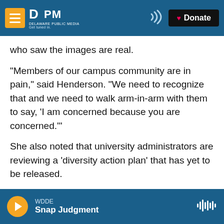DPM Delaware Public Media | Donate
who saw the images are real.
“Members of our campus community are in pain,” said Henderson. “We need to recognize that and we need to walk arm-in-arm with them to say, ‘I am concerned because you are concerned.’”
She also noted that university administrators are reviewing a ‘diversity action plan’ that has yet to be released.
Sophomore Obichukwu Maduka-Ugwu says he’s relieved by the large show of support and more people lending their voices to those who feel
WDDE | Snap Judgment